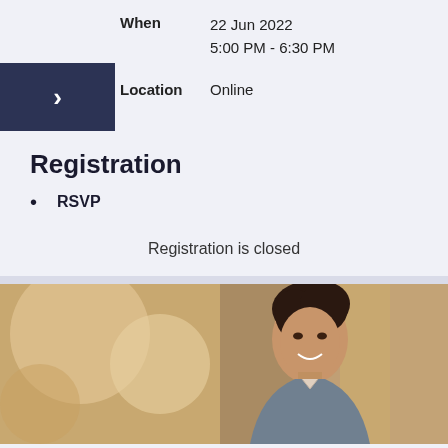When   22 Jun 2022
5:00 PM - 6:30 PM
Location   Online
Registration
RSVP
Registration is closed
[Figure (photo): Portrait photo of a smiling professional woman with dark hair pulled back, wearing a gray blazer, in front of blurred architectural columns with warm bokeh lighting]